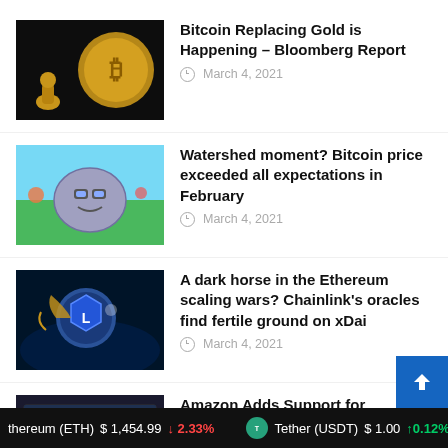[Figure (photo): Dark background image with a gold Bitcoin coin and a small gold figurine]
Bitcoin Replacing Gold is Happening – Bloomberg Report
March 4, 2021
[Figure (photo): Cartoon-style image of a blob character in a forest scene, related to Bitcoin]
Watershed moment? Bitcoin price exceeded all expectations in February
March 4, 2021
[Figure (photo): Underwater scene with a Chainlink coin character]
A dark horse in the Ethereum scaling wars? Chainlink's oracles find fertile ground on xDai
March 4, 2021
[Figure (photo): AWS/Amazon Managed Blockchain interface screenshot]
Amazon Adds Support for Ethereum on Amazon Managed Blockchain
March 4, 2021
thereum (ETH) $1,454.99 ↓2.33% Tether (USDT) $1.00 ↑0.12%